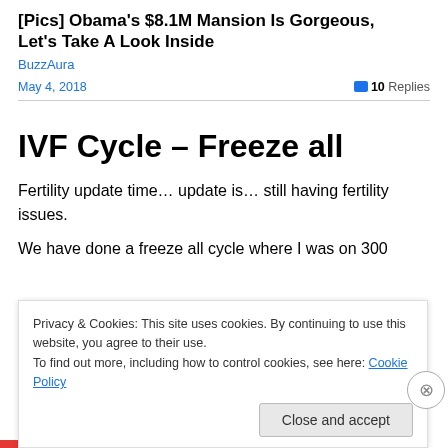[Pics] Obama's $8.1M Mansion Is Gorgeous, Let's Take A Look Inside
BuzzAura
May 4, 2018   10 Replies
IVF Cycle – Freeze all
Fertility update time… update is… still having fertility issues.
We have done a freeze all cycle where I was on 300
Privacy & Cookies: This site uses cookies. By continuing to use this website, you agree to their use.
To find out more, including how to control cookies, see here: Cookie Policy
Close and accept